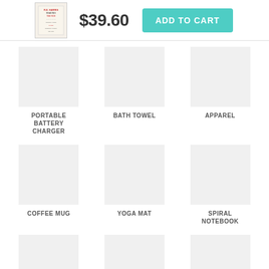[Figure (other): Product thumbnail image - poster/print with red and green text]
$39.60
ADD TO CART
PORTABLE BATTERY CHARGER
BATH TOWEL
APPAREL
COFFEE MUG
YOGA MAT
SPIRAL NOTEBOOK
FLEECE BLANKET
TAPESTRY
FACE MASK